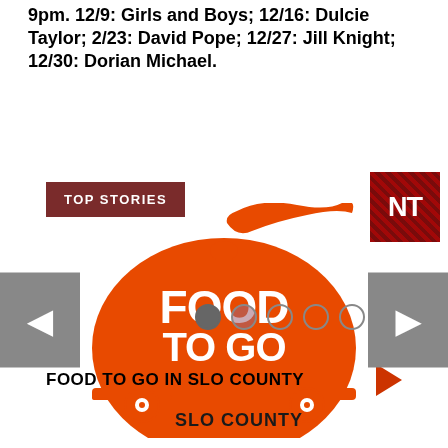9pm. 12/9: Girls and Boys; 12/16: Dulcie Taylor; 2/23: David Pope; 12/27: Jill Knight; 12/30: Dorian Michael.
[Figure (logo): Food To Go SLO County logo — orange serving dome/cloche with 'FOOD TO GO' text in white, 'SLO COUNTY' below, on wheels, with orange ribbon/steam swirl at top.]
FOOD TO GO IN SLO COUNTY